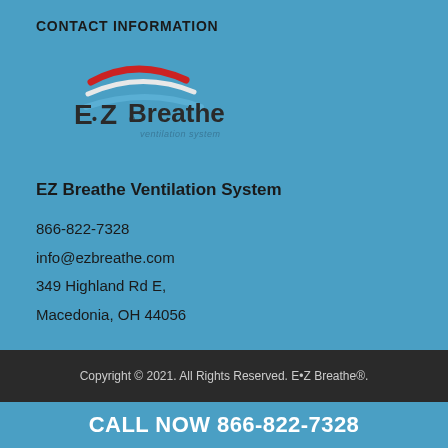CONTACT INFORMATION
[Figure (logo): EZ Breathe Ventilation System logo with red and blue swoosh arcs and stylized text]
EZ Breathe Ventilation System
866-822-7328
info@ezbreathe.com
349 Highland Rd E,
Macedonia, OH 44056
Copyright © 2021. All Rights Reserved. E•Z Breathe®.
CALL NOW 866-822-7328